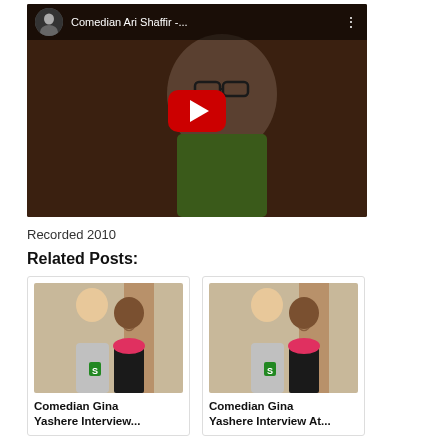[Figure (screenshot): YouTube video embed showing Comedian Ari Shaffir with a man wearing glasses and a green shirt. A red YouTube play button is centered on the video. A top bar shows a circular avatar, the title 'Comedian Ari Shaffir -...' and a three-dot menu icon.]
Recorded 2010
Related Posts:
[Figure (photo): Photo of two people: a tall man with red/ginger hair and a woman with a pink scarf, smiling. Badge with 'S' visible.]
Comedian Gina Yashere Interview...
[Figure (photo): Same photo of two people: a tall man with red/ginger hair and a woman with a pink scarf, smiling. Badge with 'S' visible.]
Comedian Gina Yashere Interview At...